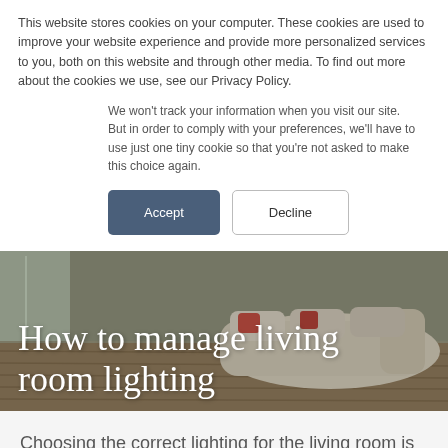This website stores cookies on your computer. These cookies are used to improve your website experience and provide more personalized services to you, both on this website and through other media. To find out more about the cookies we use, see our Privacy Policy.
We won't track your information when you visit our site. But in order to comply with your preferences, we'll have to use just one tiny cookie so that you're not asked to make this choice again.
Accept
Decline
How to manage living room lighting
Choosing the correct lighting for the living room is very complex and requires special attention, because